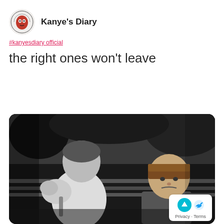[Figure (logo): Kanye's Diary circular red mask avatar logo]
Kanye's Diary
#kanyesdiary official
the right ones won't leave
[Figure (photo): Black and white photo of two young children sitting on a bench. One child with back turned holds flowers, the other child faces forward with a pouty expression.]
Privacy · Terms